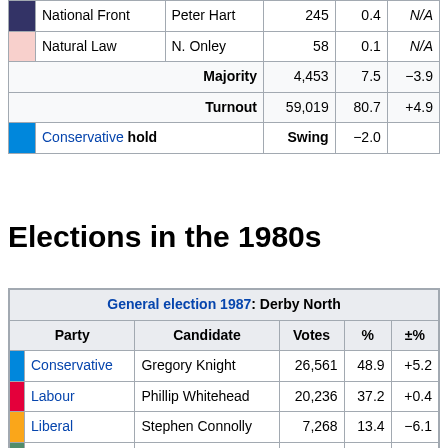|  | Party | Candidate | Votes | % | ±% |
| --- | --- | --- | --- | --- | --- |
| National Front | Peter Hart | 245 | 0.4 | N/A |
| Natural Law | N. Onley | 58 | 0.1 | N/A |
|  | Majority | 4,453 | 7.5 | −3.9 |
|  | Turnout | 59,019 | 80.7 | +4.9 |
| Conservative hold |  | Swing | −2.0 |  |
Elections in the 1980s
| General election 1987: Derby North |
| --- |
| Party | Candidate | Votes | % | ±% |
| Conservative | Gregory Knight | 26,561 | 48.9 | +5.2 |
| Labour | Phillip Whitehead | 20,236 | 37.2 | +0.4 |
| Liberal | Stephen Connolly | 7,268 | 13.4 | −6.1 |
| Green (UK) | Eric Wall | 291 | 0.5 | N/A |